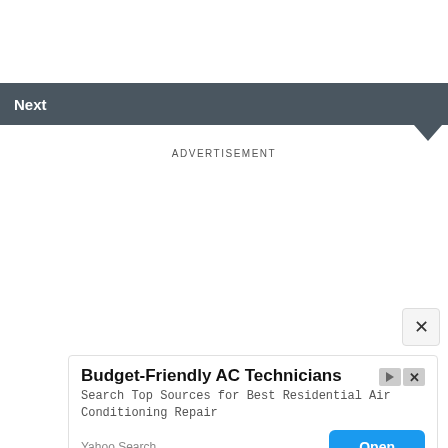Next
ADVERTISEMENT
[Figure (other): Close button with X symbol]
[Figure (infographic): Advertisement card: Budget-Friendly AC Technicians. Search Top Sources for Best Residential Air Conditioning Repair. Yahoo Search. Open button.]